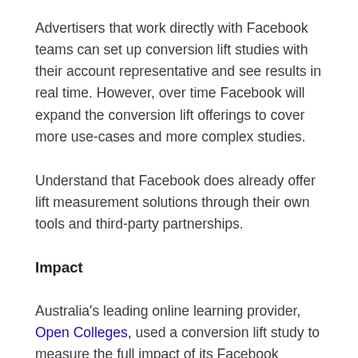Advertisers that work directly with Facebook teams can set up conversion lift studies with their account representative and see results in real time. However, over time Facebook will expand the conversion lift offerings to cover more use-cases and more complex studies.
Understand that Facebook does already offer lift measurement solutions through their own tools and third-party partnerships.
Impact
Australia's leading online learning provider, Open Colleges, used a conversion lift study to measure the full impact of its Facebook campaigns. Results from the study showed a 95% lift in conversion rate for